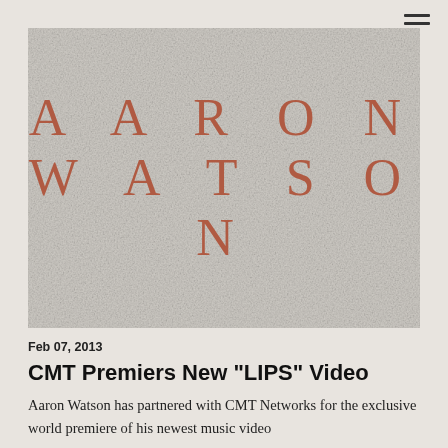[Figure (logo): Aaron Watson artist logo with terracotta/rust colored spaced serif lettering on a linen/canvas textured light gray background. Text reads AARON WATSON in two lines with wide letter spacing.]
Feb 07, 2013
CMT Premiers New "LIPS" Video
Aaron Watson has partnered with CMT Networks for the exclusive world premiere of his newest music video